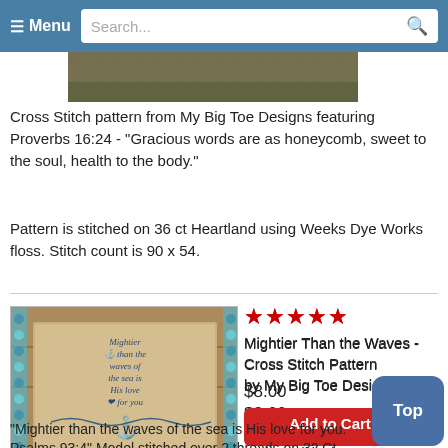Menu | Search...
[Figure (photo): Partial product image at top, cropped]
Cross Stitch pattern from My Big Toe Designs featuring Proverbs 16:24 - "Gracious words are as honeycomb, sweet to the soul, health to the body."
Pattern is stitched on 36 ct Heartland using Weeks Dye Works floss. Stitch count is 90 x 54.
[Figure (photo): Cross stitch pattern photo: 'Mightier than the waves of the sea is His love for you' on wooden plank background with anchor motif, surrounded by blue beads]
★★★★★
Mightier Than the Waves - Cross Stitch Pattern
by My Big Toe Designs
$8.00
Add to Cart
Add to Wish List
"Mightier than the waves of the sea is His love for you. Psalms 93:4" Model stitched over 2 threads on 32 Ct